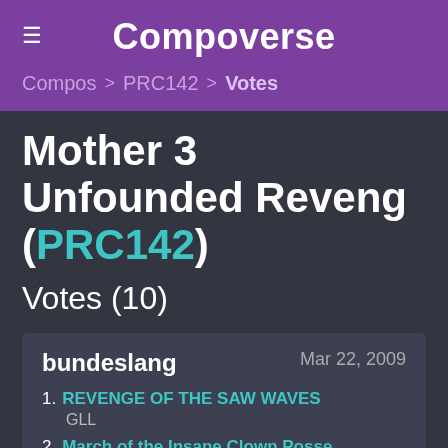Compoverse
Compos > PRC142 > Votes
Mother 3 Unfounded Reveng (PRC142)
Votes (10)
bundeslang — Mar 22, 2009
1. REVENGE OF THE SAW WAVES — GLL
2. March of the Insane Clown Posse